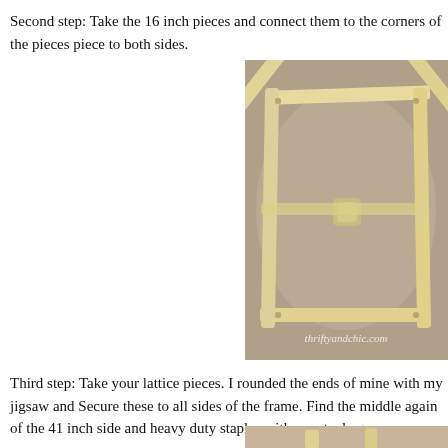Second step: Take the 16 inch pieces and connect them to the corners of the pieces piece to both sides.
[Figure (photo): Photo of a wooden frame structure with diagonal cross pieces (X pattern), placed on a carpeted floor. Watermark reads 'thriftyandchic.com'.]
Third step: Take your lattice pieces. I rounded the ends of mine with my jigsaw and Secure these to all sides of the frame. Find the middle again of the 41 inch side and heavy duty staples with my staple gun.
[Figure (photo): Partial photo visible at bottom right of page, showing wooden construction detail.]